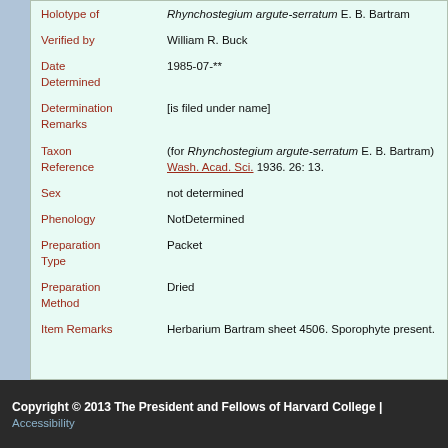| Field | Value |
| --- | --- |
| Holotype of | Rhynchostegium argute-serratum E. B. Bartram |
| Verified by | William R. Buck |
| Date Determined | 1985-07-** |
| Determination Remarks | [is filed under name] |
| Taxon Reference | (for Rhynchostegium argute-serratum E. B. Bartram) Wash. Acad. Sci. 1936. 26: 13. |
| Sex | not determined |
| Phenology | NotDetermined |
| Preparation Type | Packet |
| Preparation Method | Dried |
| Item Remarks | Herbarium Bartram sheet 4506. Sporophyte present. |
Copyright © 2013 The President and Fellows of Harvard College | Accessibility